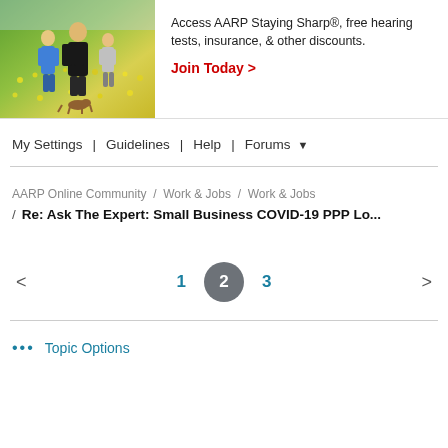[Figure (photo): People walking outdoors in a field of yellow flowers; AARP membership advertisement banner with photo on left and text on right]
Access AARP Staying Sharp®, free hearing tests, insurance, & other discounts.
Join Today >
My Settings | Guidelines | Help | Forums ▾
AARP Online Community / Work & Jobs / Work & Jobs / Re: Ask The Expert: Small Business COVID-19 PPP Lo...
< 1 2 3 >
••• Topic Options